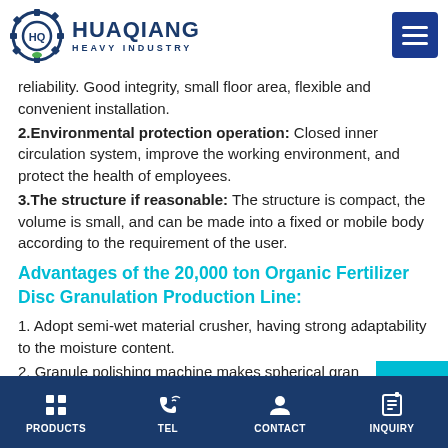HUAQIANG HEAVY INDUSTRY
reliability. Good integrity, small floor area, flexible and convenient installation.
2.Environmental protection operation: Closed inner circulation system, improve the working environment, and protect the health of employees.
3.The structure if reasonable: The structure is compact, the volume is small, and can be made into a fixed or mobile body according to the requirement of the user.
Advantages of the 20,000 ton Organic Fertilizer Disc Granulation Production Line:
1. Adopt semi-wet material crusher, having strong adaptability to the moisture content.
2. Granule polishing machine makes spherical granules with uniform size, smooth surface and high strength. Suitable for connecting with various granulator.
PRODUCTS  TEL  CONTACT  INQUIRY